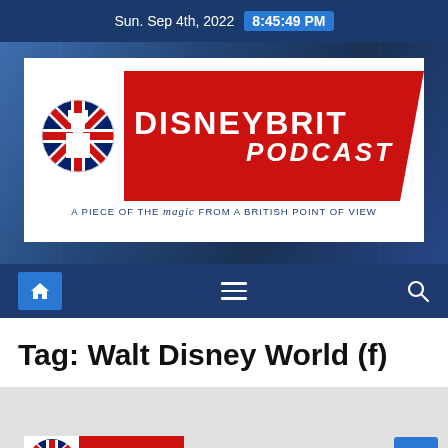Sun. Sep 4th, 2022  8:45:49 PM
[Figure (logo): DisneyBrit Podcast logo — Union Jack flag circle on left, large red diagonal banner with white bold text 'DISNEYBRIT' and italic 'PODCAST', tagline 'A PIECE OF THE magic FROM A BRITISH POINT OF VIEW']
[Figure (screenshot): Navigation bar with home icon button (blue), hamburger menu icon (white lines), and search icon (white magnifying glass) on dark blue background]
Tag: Walt Disney World (f)
[Figure (screenshot): Bottom gray section with partial DisneyBrit logo visible at bottom left and blue scroll-to-top arrow button at bottom right]